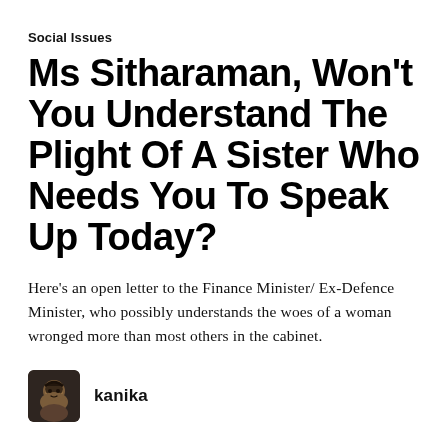Social Issues
Ms Sitharaman, Won't You Understand The Plight Of A Sister Who Needs You To Speak Up Today?
Here's an open letter to the Finance Minister/ Ex-Defence Minister, who possibly understands the woes of a woman wronged more than most others in the cabinet.
kanika